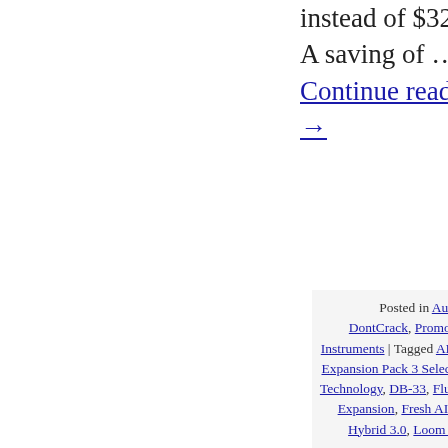instead of $329.99. A saving of …
Continue reading →
Posted in Audio Software, DontCrack, Promotions, Virtual Instruments | Tagged AIR Instrument Expansion Pack 3 Select, AIR Music Technology, DB-33, Flux Transitions Expansion, Fresh AIR Expansion, Hybrid 3.0, Loom Classic, Mini Grand,